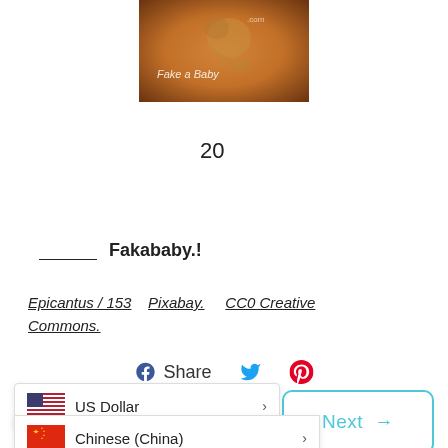[Figure (photo): Ultrasound-style image of a fake baby with text overlay reading 'Fake a Baby']
20
_____ Fakababy.!
Epicantus / 153   Pixabay.   CC0 Creative Commons.
Share
US Dollar
Chinese (China)
Next →